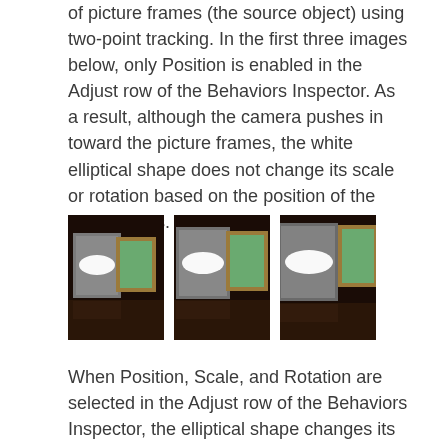of picture frames (the source object) using two-point tracking. In the first three images below, only Position is enabled in the Adjust row of the Behaviors Inspector. As a result, although the camera pushes in toward the picture frames, the white elliptical shape does not change its scale or rotation based on the position of the two trackers.
[Figure (photo): Three side-by-side dark photos showing two picture frames (a gray one with a white ellipse and a green framed one) at different zoom levels as a camera pushes in.]
When Position, Scale, and Rotation are selected in the Adjust row of the Behaviors Inspector, the elliptical shape changes its position, scale, and rotation based on the position of the two trackers, matching the camera's push toward the picture